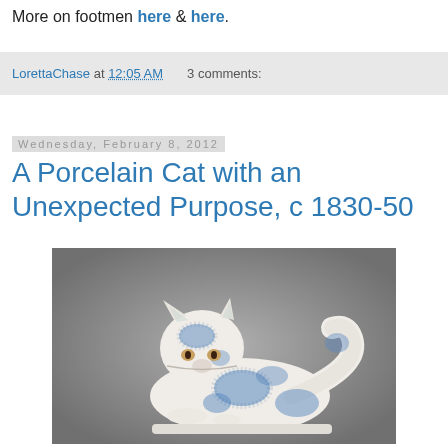More on footmen here & here.
LorettaChase at 12:05 AM   3 comments:
Wednesday, February 8, 2012
A Porcelain Cat with an Unexpected Purpose, c 1830-50
[Figure (photo): A white porcelain cat figurine with blue sponged spots, shaped as a teapot or container, reclining with tail arched to form a handle. Circa 1830-50.]